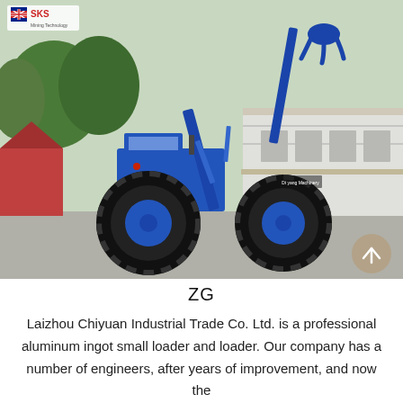[Figure (photo): A large blue wheeled loader/crane machine with a hydraulic arm and claw attachment, parked in front of an industrial building. A SKS Mining Technology logo is visible in the top-left corner of the photo. A scroll-up button is visible in the bottom-right of the image.]
ZG
Laizhou Chiyuan Industrial Trade Co. Ltd. is a professional aluminum ingot small loader and loader. Our company has a number of engineers, after years of improvement, and now the